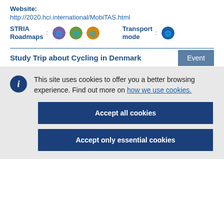Website: http://2020.hci.international/MobiTAS.html
STRIA Roadmaps: [icons] Transport mode: [icon]
Study Trip about Cycling in Denmark
This site uses cookies to offer you a better browsing experience. Find out more on how we use cookies.
Accept all cookies
Accept only essential cookies